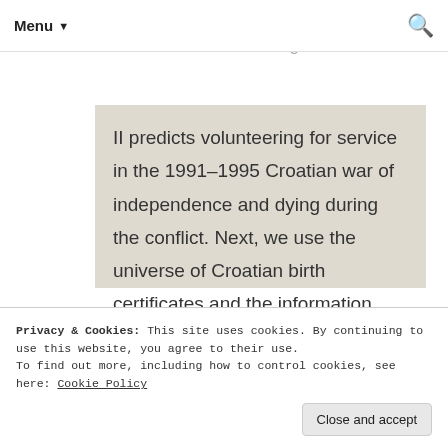Menu ▼  [search icon]
that is synonymous with the leader(s) of the Croatian state during World War
II predicts volunteering for service in the 1991–1995 Croatian war of independence and dying during the conflict. Next, we use the universe of Croatian birth certificates and the information about nationalism conveyed by first names to suggests that in ex-Yugoslav Croatia,
Privacy & Cookies: This site uses cookies. By continuing to use this website, you agree to their use.
To find out more, including how to control cookies, see here: Cookie Policy
Close and accept